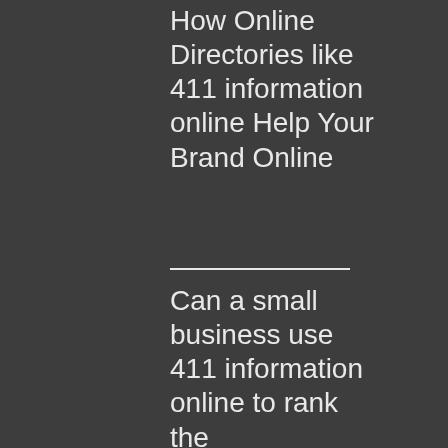How Online Directories like 411 information online Help Your Brand Online
Can a small business use 411 information online to rank the